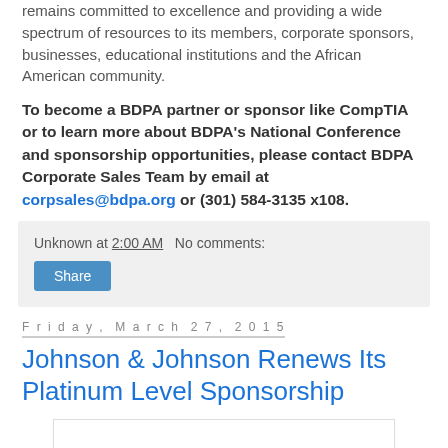remains committed to excellence and providing a wide spectrum of resources to its members, corporate sponsors, businesses, educational institutions and the African American community.
To become a BDPA partner or sponsor like CompTIA or to learn more about BDPA's National Conference and sponsorship opportunities, please contact BDPA Corporate Sales Team by email at corpsales@bdpa.org or (301) 584-3135 x108.
Unknown at 2:00 AM   No comments:
Share
Friday, March 27, 2015
Johnson & Johnson Renews Its Platinum Level Sponsorship
[Figure (logo): Johnson & Johnson logo in red italic script font]